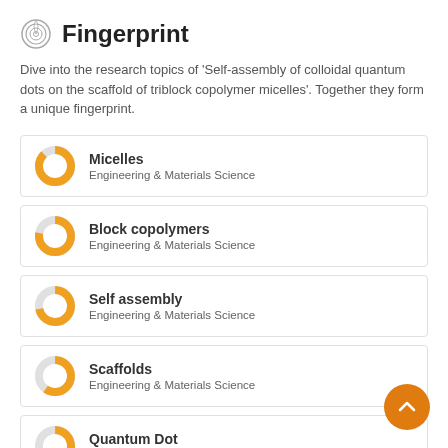Fingerprint
Dive into the research topics of 'Self-assembly of colloidal quantum dots on the scaffold of triblock copolymer micelles'. Together they form a unique fingerprint.
Micelles
Engineering & Materials Science
Block copolymers
Engineering & Materials Science
Self assembly
Engineering & Materials Science
Scaffolds
Engineering & Materials Science
Quantum Dot
Chemical Compounds